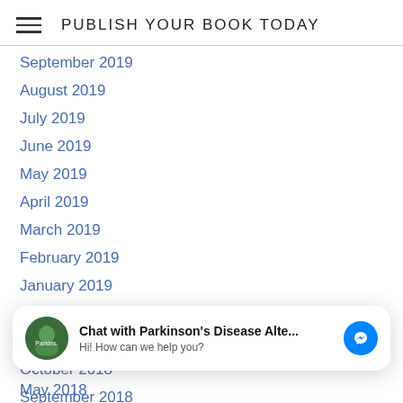PUBLISH YOUR BOOK TODAY
September 2019
August 2019
July 2019
June 2019
May 2019
April 2019
March 2019
February 2019
January 2019
December 2018
November 2018
October 2018
September 2018
August 2018
[Figure (screenshot): Chat overlay with Parkinson's Disease Alte... messenger widget: avatar, title 'Chat with Parkinson's Disease Alte...', subtitle 'Hi! How can we help you?', blue messenger button]
May 2018